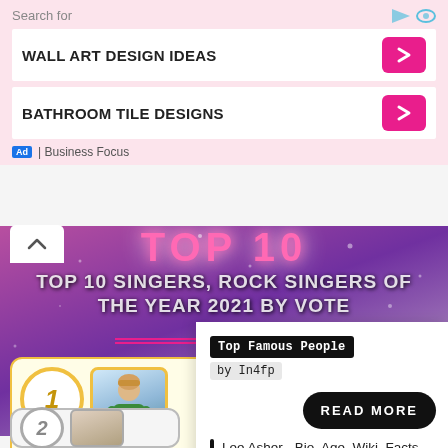Search for
WALL ART DESIGN IDEAS
BATHROOM TILE DESIGNS
Ad | Business Focus
[Figure (screenshot): Top 10 Singers, Rock Singers of the Year 2021 by Vote banner with purple/pink galaxy background]
Top Famous People by In4fp
READ MORE
Lee Asher - Bio, Age, Wiki, Facts and Family - in4fp.com
1 Boots
2